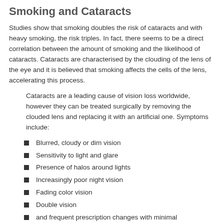Smoking and Cataracts
Studies show that smoking doubles the risk of cataracts and with heavy smoking, the risk triples. In fact, there seems to be a direct correlation between the amount of smoking and the likelihood of cataracts. Cataracts are characterised by the clouding of the lens of the eye and it is believed that smoking affects the cells of the lens, accelerating this process.
Cataracts are a leading cause of vision loss worldwide, however they can be treated surgically by removing the clouded lens and replacing it with an artificial one. Symptoms include:
Blurred, cloudy or dim vision
Sensitivity to light and glare
Presence of halos around lights
Increasingly poor night vision
Fading color vision
Double vision
and frequent prescription changes with minimal